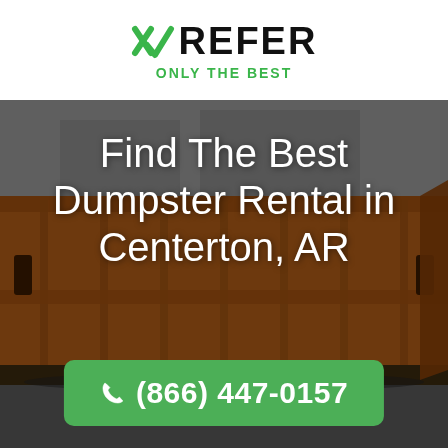XREFER ONLY THE BEST
[Figure (photo): Large orange/rust-colored roll-off dumpster container photographed outdoors against a wall with graffiti, dimly lit scene]
Find The Best Dumpster Rental in Centerton, AR
(866) 447-0157